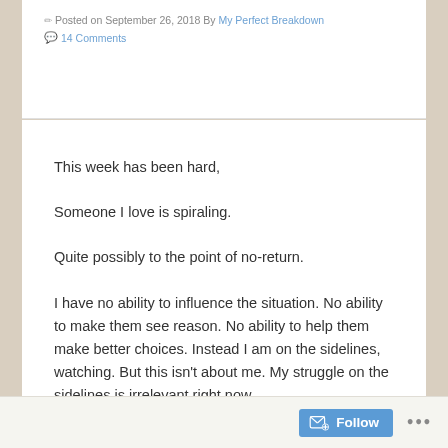Posted on September 26, 2018 By My Perfect Breakdown · 14 Comments
This week has been hard,
Someone I love is spiraling.
Quite possibly to the point of no-return.
I have no ability to influence the situation. No ability to make them see reason. No ability to help them make better choices. Instead I am on the sidelines, watching. But this isn't about me. My struggle on the sidelines is irrelevant right now.
What is relevant is the potential loss of a young life, a life